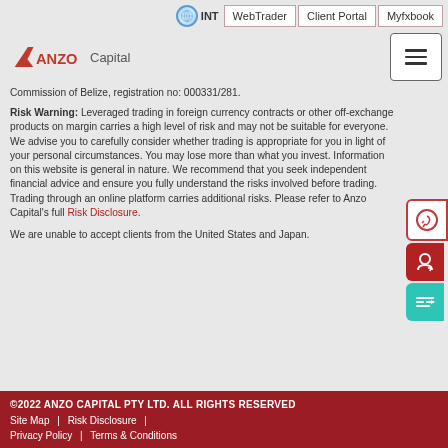INT  WebTrader  Client Portal  Myfxbook
[Figure (logo): ANZO Capital logo with red chevron/arrow A symbol and hamburger menu button]
Commission of Belize, registration no: 000331/281.
Risk Warning: Leveraged trading in foreign currency contracts or other off-exchange products on margin carries a high level of risk and may not be suitable for everyone. We advise you to carefully consider whether trading is appropriate for you in light of your personal circumstances. You may lose more than what you invest. Information on this website is general in nature. We recommend that you seek independent financial advice and ensure you fully understand the risks involved before trading. Trading through an online platform carries additional risks. Please refer to Anzo Capital's full Risk Disclosure.
We are unable to accept clients from the United States and Japan.
©2022 ANZO CAPITAL PTY LTD. ALL RIGHTS RESERVED
Site Map  |  Risk Disclosure  |
Privacy Policy  |  Terms & Conditions